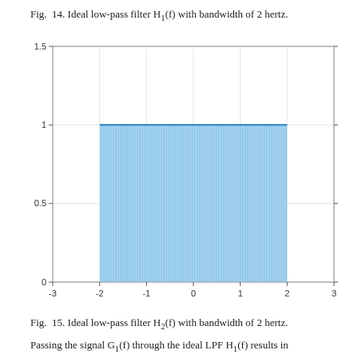Fig. 14. Ideal low-pass filter H1(f) with bandwidth of 2 hertz.
[Figure (continuous-plot): Ideal low-pass filter H2(f) plot showing a rectangular function equal to 1 between -2 and 2 Hz, and 0 outside. Blue filled rectangle with dense vertical lines indicating the passband. Y-axis from 0 to 1.5, X-axis from -3 to 3.]
Fig. 15. Ideal low-pass filter H2(f) with bandwidth of 2 hertz.
Passing the signal G1(f) through the ideal LPF H1(f) results in